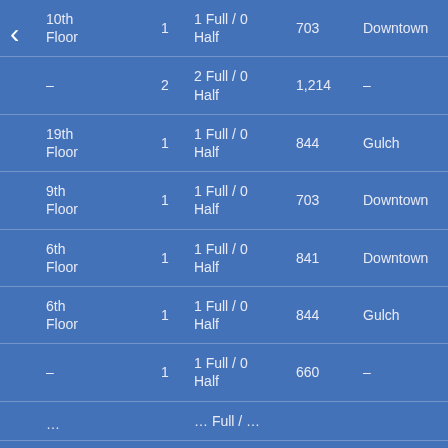| Location | Beds | Baths | Sq Ft | Neighborhood | Price |
| --- | --- | --- | --- | --- | --- |
| 10th Floor | 1 | 1 Full / 0 Half | 703 | Downtown | S4… |
| – | 2 | 2 Full / 0 Half | 1,214 | – | S2… |
| 19th Floor | 1 | 1 Full / 0 Half | 844 | Gulch | S5… |
| 9th Floor | 1 | 1 Full / 0 Half | 703 | Downtown | S3… |
| 6th Floor | 1 | 1 Full / 0 Half | 841 | Downtown | S5… |
| 6th Floor | 1 | 1 Full / 0 Half | 844 | Gulch | S4… |
| – | 1 | 1 Full / 0 Half | 660 | – | – |
| … | … | … Full / … | … | … | … |